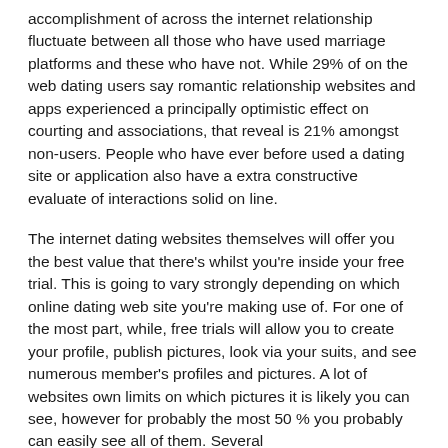accomplishment of across the internet relationship fluctuate between all those who have used marriage platforms and these who have not. While 29% of on the web dating users say romantic relationship websites and apps experienced a principally optimistic effect on courting and associations, that reveal is 21% amongst non-users. People who have ever before used a dating site or application also have a extra constructive evaluate of interactions solid on line.
The internet dating websites themselves will offer you the best value that there's whilst you're inside your free trial. This is going to vary strongly depending on which online dating web site you're making use of. For one of the most part, while, free trials will allow you to create your profile, publish pictures, look via your suits, and see numerous member's profiles and pictures. A lot of websites own limits on which pictures it is likely you can see, however for probably the most 50 % you probably can easily see all of them. Several https://datingjet.com/easternhoneys-review/ of the most